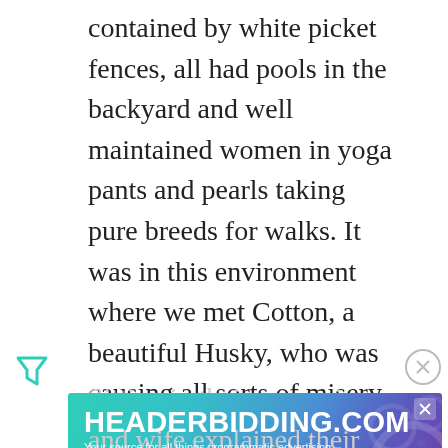contained by white picket fences, all had pools in the backyard and well maintained women in yoga pants and pearls taking pure breeds for walks. It was in this environment where we met Cotton, a beautiful Husky, who was causing all sorts of misery for his family.
[Figure (logo): Teal/green filter funnel icon on the left side]
[Figure (other): Circle with X close button on the right side]
Sitting in their expansive
[Figure (infographic): HEADERBIDDING.COM advertisement banner — Your source for all things programmatic advertising.]
and wife explained their